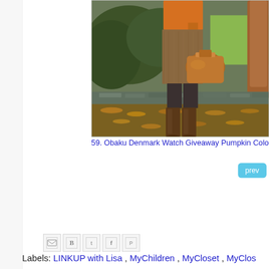[Figure (photo): Woman wearing orange sweater, brown tweed skirt, brown knee-high boots, carrying a brown leather bag, standing outdoors in autumn with fallen leaves and shrubs in the background]
59. Obaku Denmark Watch Giveaway Pumpkin Colors - Ele
prev
[Figure (other): Social sharing icons: Gmail (M), Blogger (B), Twitter (t), Facebook (f), Pinterest (P)]
Labels: LINKUP with Lisa , MyChildren , MyCloset , MyClos